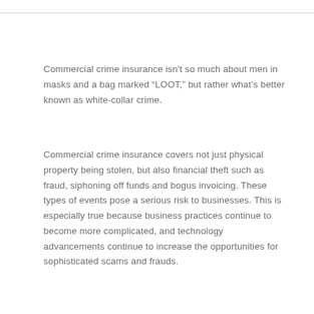Commercial crime insurance isn't so much about men in masks and a bag marked “LOOT,” but rather what's better known as white-collar crime.
Commercial crime insurance covers not just physical property being stolen, but also financial theft such as fraud, siphoning off funds and bogus invoicing. These types of events pose a serious risk to businesses. This is especially true because business practices continue to become more complicated, and technology advancements continue to increase the opportunities for sophisticated scams and frauds.